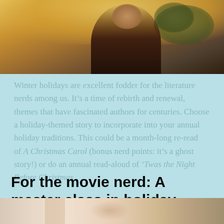[Figure (photo): Top portion of a photo showing a person outdoors holding a book, with warm golden/amber background lighting suggesting sunset or golden hour]
Winter holidays are excellent fodder for the literature nerds among us. It’s a time of rebirth and renewal, themes that have fascinated authors for centuries. Choose a holiday-themed story to incorporate into your annual holiday traditions. This could be a month-long re-read of A Christmas Carol (bonus nerd points: it’s a ghost story!) or do an annual read-aloud of ‘Twas the Night Before Christmas.
For the movie nerd: A master class in holiday movies.
[Figure (photo): Bottom portion of a photo showing what appears to be a holiday scene, partially visible at the bottom of the page]